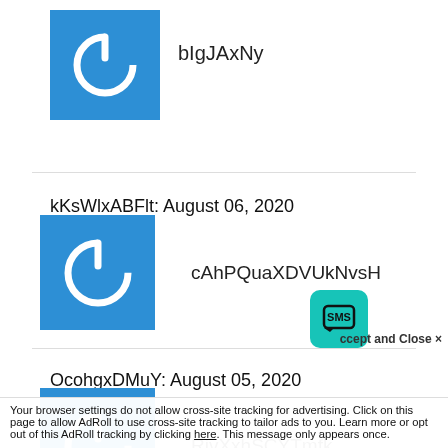[Figure (logo): Blue square avatar with white power button icon (top partial section)]
bIgJAxNy
[Figure (logo): Blue square avatar with white power button icon]
kKsWlxABFlt: August 06, 2020
cAhPQuaXDVUkNvsH
OcohgxDMuY: August 05, 2020
[Figure (logo): Blue square avatar with white power button icon]
RivXxhSCYTmfk
Your browser settings do not allow cross-site tracking for advertising. Click on this page to allow AdRoll to use cross-site tracking to tailor ads to you. Learn more or opt out of this AdRoll tracking by clicking here. This message only appears once.